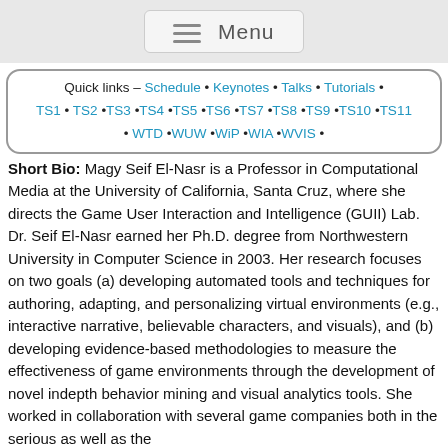Menu
Quick links – Schedule • Keynotes • Talks • Tutorials • TS1 • TS2 • TS3 • TS4 • TS5 • TS6 • TS7 • TS8 • TS9 • TS10 • TS11 • WTD • WUW • WiP • WIA • WVIS •
Short Bio: Magy Seif El-Nasr is a Professor in Computational Media at the University of California, Santa Cruz, where she directs the Game User Interaction and Intelligence (GUII) Lab. Dr. Seif El-Nasr earned her Ph.D. degree from Northwestern University in Computer Science in 2003. Her research focuses on two goals (a) developing automated tools and techniques for authoring, adapting, and personalizing virtual environments (e.g., interactive narrative, believable characters, and visuals), and (b) developing evidence-based methodologies to measure the effectiveness of game environments through the development of novel indepth behavior mining and visual analytics tools. She worked in collaboration with several game companies both in the serious as well as the